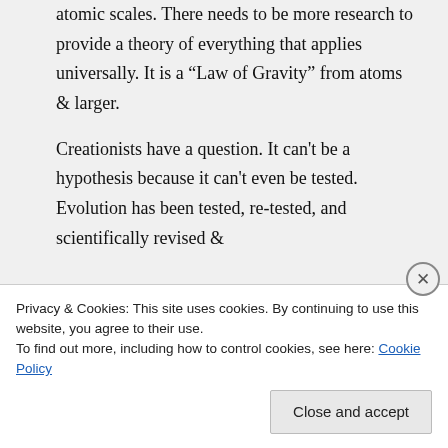atomic scales. There needs to be more research to provide a theory of everything that applies universally. It is a “Law of Gravity” from atoms & larger.

Creationists have a question. It can't be a hypothesis because it can't even be tested. Evolution has been tested, re-tested, and scientifically revised &
Privacy & Cookies: This site uses cookies. By continuing to use this website, you agree to their use.
To find out more, including how to control cookies, see here: Cookie Policy